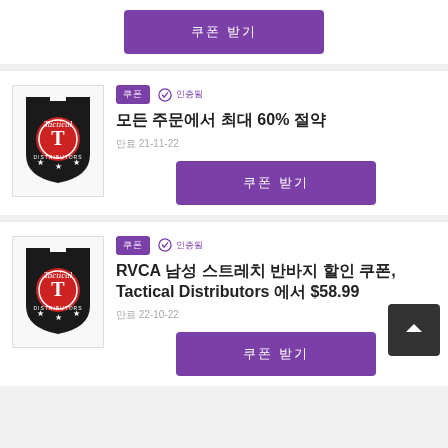[Figure (other): Purple button with Korean text 쿠폰 받기]
[Figure (logo): Tactical Distributors shield logo]
쿠폰
✓ 인증됨
모든 주문에서 최대 60% 절약
만료 21-11-22
[Figure (other): Purple button with Korean text 쿠폰 받기]
[Figure (logo): Tactical Distributors shield logo]
쿠폰
✓ 인증됨
RVCA 남성 스트레치 반바지 할인 쿠폰, Tactical Distributors 에서 $58.99
만료 22-10-22
[Figure (other): Purple button with Korean text 쿠폰 받기]